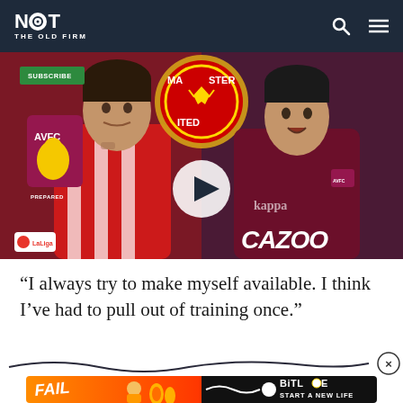NOT THE OLD FIRM
[Figure (screenshot): Video thumbnail showing two football players - one in Atletico Madrid red/white stripes on left, one in Aston Villa claret on right - with AVFC badge, Manchester United crest, play button in center, Subscribe button top left, LaLiga badge bottom left, CAZOO text bottom right]
“I always try to make myself available. I think I’ve had to pull out of training once.”
[Figure (screenshot): Squiggle decorative line with X close button on right]
[Figure (screenshot): BitLife advertisement banner - FAIL text on orange background left side, BitLife START A NEW LIFE on black right side]